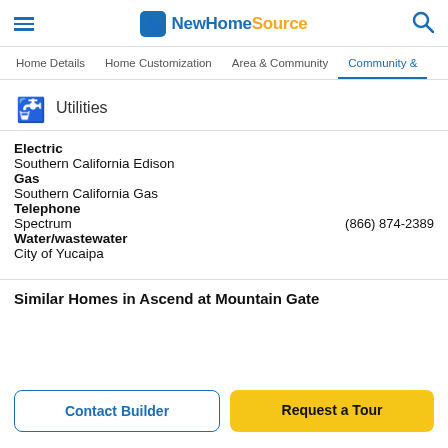NewHomeSource
Home Details | Home Customization | Area & Community | Community &
Utilities
Electric
Southern California Edison
Gas
Southern California Gas
Telephone
Spectrum  (866) 874-2389
Water/wastewater
City of Yucaipa
Similar Homes in Ascend at Mountain Gate
Contact Builder
Request a Tour